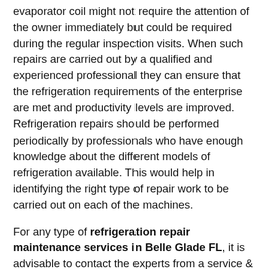evaporator coil might not require the attention of the owner immediately but could be required during the regular inspection visits. When such repairs are carried out by a qualified and experienced professional they can ensure that the refrigeration requirements of the enterprise are met and productivity levels are improved. Refrigeration repairs should be performed periodically by professionals who have enough knowledge about the different models of refrigeration available. This would help in identifying the right type of repair work to be carried out on each of the machines.
For any type of refrigeration repair maintenance services in Belle Glade FL, it is advisable to contact the experts from a service & repair company established in the area. These